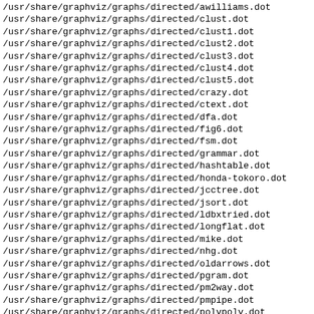/usr/share/graphviz/graphs/directed/awilliams.dot
/usr/share/graphviz/graphs/directed/clust.dot
/usr/share/graphviz/graphs/directed/clust1.dot
/usr/share/graphviz/graphs/directed/clust2.dot
/usr/share/graphviz/graphs/directed/clust3.dot
/usr/share/graphviz/graphs/directed/clust4.dot
/usr/share/graphviz/graphs/directed/clust5.dot
/usr/share/graphviz/graphs/directed/crazy.dot
/usr/share/graphviz/graphs/directed/ctext.dot
/usr/share/graphviz/graphs/directed/dfa.dot
/usr/share/graphviz/graphs/directed/fig6.dot
/usr/share/graphviz/graphs/directed/fsm.dot
/usr/share/graphviz/graphs/directed/grammar.dot
/usr/share/graphviz/graphs/directed/hashtable.dot
/usr/share/graphviz/graphs/directed/honda-tokoro.dot
/usr/share/graphviz/graphs/directed/jcctree.dot
/usr/share/graphviz/graphs/directed/jsort.dot
/usr/share/graphviz/graphs/directed/ldbxtried.dot
/usr/share/graphviz/graphs/directed/longflat.dot
/usr/share/graphviz/graphs/directed/mike.dot
/usr/share/graphviz/graphs/directed/nhg.dot
/usr/share/graphviz/graphs/directed/oldarrows.dot
/usr/share/graphviz/graphs/directed/pgram.dot
/usr/share/graphviz/graphs/directed/pm2way.dot
/usr/share/graphviz/graphs/directed/pmpipe.dot
/usr/share/graphviz/graphs/directed/polypoly.dot
/usr/share/graphviz/graphs/directed/proc3d.dot
/usr/share/graphviz/graphs/directed/record2.dot
/usr/share/graphviz/graphs/directed/records.dot
/usr/share/graphviz/graphs/directed/rowe.dot
/usr/share/graphviz/graphs/directed/sdh.dot